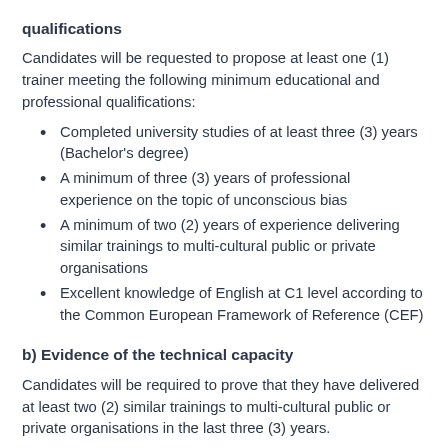qualifications
Candidates will be requested to propose at least one (1) trainer meeting the following minimum educational and professional qualifications:
Completed university studies of at least three (3) years (Bachelor's degree)
A minimum of three (3) years of professional experience on the topic of unconscious bias
A minimum of two (2) years of experience delivering similar trainings to multi-cultural public or private organisations
Excellent knowledge of English at C1 level according to the Common European Framework of Reference (CEF)
b) Evidence of the technical capacity
Candidates will be required to prove that they have delivered at least two (2) similar trainings to multi-cultural public or private organisations in the last three (3) years.